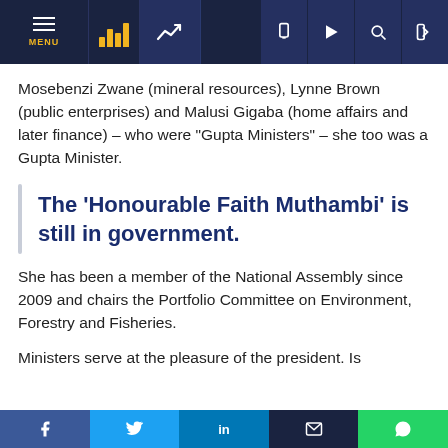Navigation bar with MENU, chart logo, trend icon, and icons for mobile, play, search, login
Mosebenzi Zwane (mineral resources), Lynne Brown (public enterprises) and Malusi Gigaba (home affairs and later finance) – who were “Gupta Ministers” – she too was a Gupta Minister.
The ‘Honourable Faith Muthambi’ is still in government.
She has been a member of the National Assembly since 2009 and chairs the Portfolio Committee on Environment, Forestry and Fisheries.
Ministers serve at the pleasure of the president. Is
Social share bar: Facebook, Twitter, LinkedIn, Email, WhatsApp